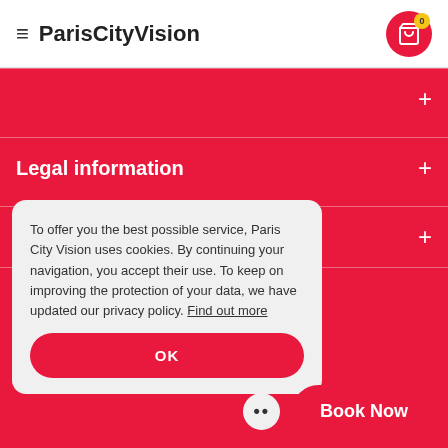ParisCityVision
Legal information
Language
To offer you the best possible service, Paris City Vision uses cookies. By continuing your navigation, you accept their use. To keep on improving the protection of your data, we have updated our privacy policy. Find out more
OK
Book Now